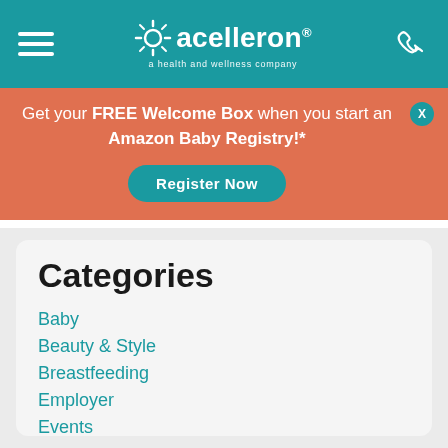[Figure (logo): Acelleron logo with sun/star icon and tagline 'a health and wellness company' on teal background, with hamburger menu icon on left and phone icon on right]
Get your FREE Welcome Box when you start an Amazon Baby Registry!*
Register Now
Categories
Baby
Beauty & Style
Breastfeeding
Employer
Events
Gear
Home